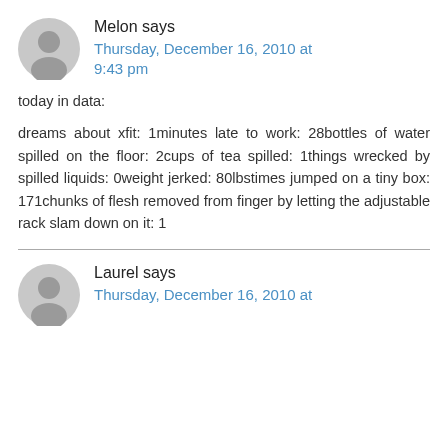Melon says
Thursday, December 16, 2010 at 9:43 pm
today in data:
dreams about xfit: 1minutes late to work: 28bottles of water spilled on the floor: 2cups of tea spilled: 1things wrecked by spilled liquids: 0weight jerked: 80lbstimes jumped on a tiny box: 171chunks of flesh removed from finger by letting the adjustable rack slam down on it: 1
Laurel says
Thursday, December 16, 2010 at